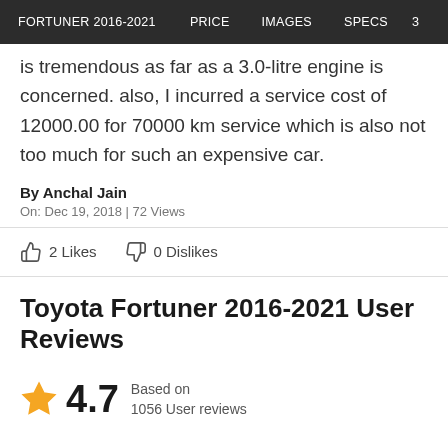FORTUNER 2016-2021  PRICE  IMAGES  SPECS
is tremendous as far as a 3.0-litre engine is concerned. also, I incurred a service cost of 12000.00 for 70000 km service which is also not too much for such an expensive car.
By Anchal Jain
On: Dec 19, 2018 | 72 Views
2 Likes  0 Dislikes
Toyota Fortuner 2016-2021 User Reviews
4.7 Based on 1056 User reviews